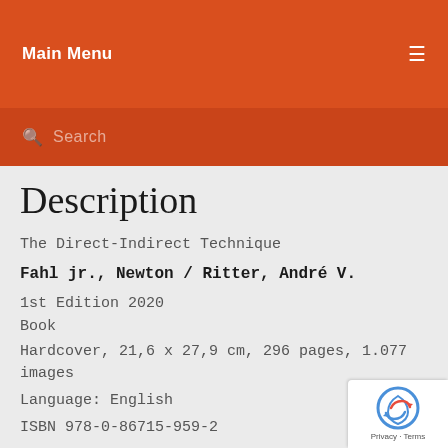Main Menu
Search
Description
The Direct-Indirect Technique
Fahl jr., Newton / Ritter, André V.
1st Edition 2020
Book
Hardcover, 21,6 x 27,9 cm, 296 pages, 1.077 images
Language: English
ISBN 978-0-86715-959-2